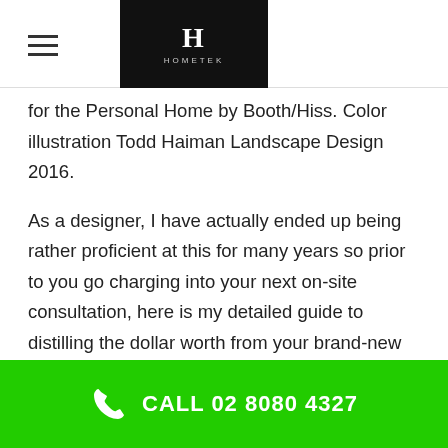HOMETEK
for the Personal Home by Booth/Hiss. Color illustration Todd Haiman Landscape Design 2016.
As a designer, I have actually ended up being rather proficient at this for many years so prior to you go charging into your next on-site consultation, here is my detailed guide to distilling the dollar worth from your brand-new client. Step One Prepare Your Customer Ahead of Time Rather than simply springing the question on your potential consumer and putting them on the area for an answer, help them be prepared to have a response by planting the seed early on.
Fully Insured Service
CALL 02 8080 4327